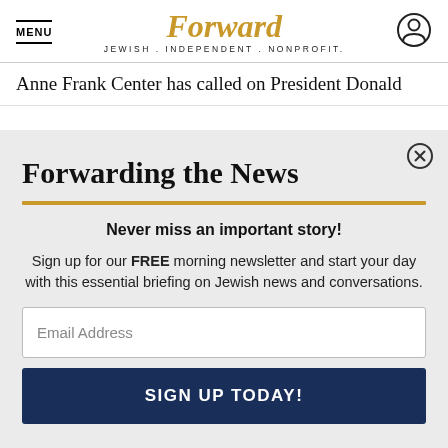MENU | Forward JEWISH . INDEPENDENT . NONPROFIT.
Anne Frank Center has called on President Donald
Forwarding the News
Never miss an important story!
Sign up for our FREE morning newsletter and start your day with this essential briefing on Jewish news and conversations.
Email Address
SIGN UP TODAY!